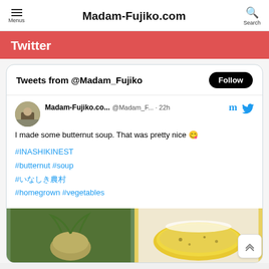Menus  Madam-Fujiko.com  Search
Twitter
Tweets from @Madam_Fujiko
Madam-Fujiko.co... @Madam_F... · 22h
I made some butternut soup. That was pretty nice 😋
#INASHIKINEST
#butternut #soup
#いなしき農村
#homegrown #vegetables
[Figure (photo): Two photos: left shows a butternut squash growing in a garden, right shows a bowl of yellow butternut soup.]